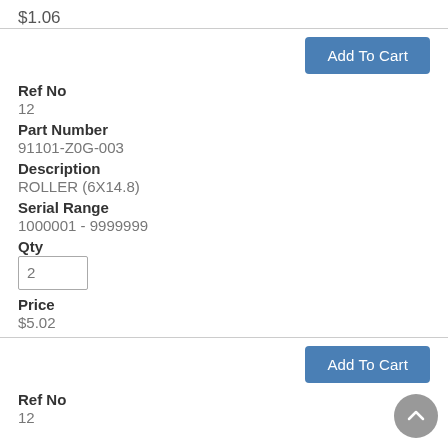$1.06
Add To Cart
Ref No
12
Part Number
91101-Z0G-003
Description
ROLLER (6X14.8)
Serial Range
1000001 - 9999999
Qty
2
Price
$5.02
Add To Cart
Ref No
12